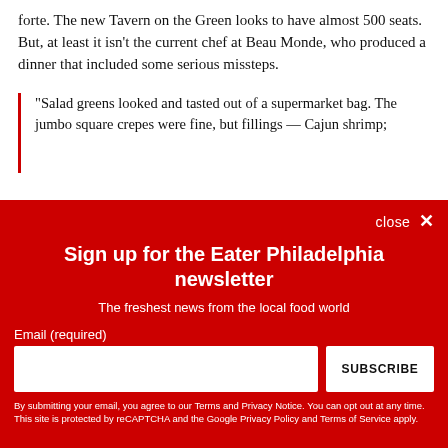forte. The new Tavern on the Green looks to have almost 500 seats. But, at least it isn't the current chef at Beau Monde, who produced a dinner that included some serious missteps.
"Salad greens looked and tasted out of a supermarket bag. The jumbo square crepes were fine, but fillings — Cajun shrimp;
Sign up for the Eater Philadelphia newsletter
The freshest news from the local food world
Email (required)
SUBSCRIBE
By submitting your email, you agree to our Terms and Privacy Notice. You can opt out at any time. This site is protected by reCAPTCHA and the Google Privacy Policy and Terms of Service apply.